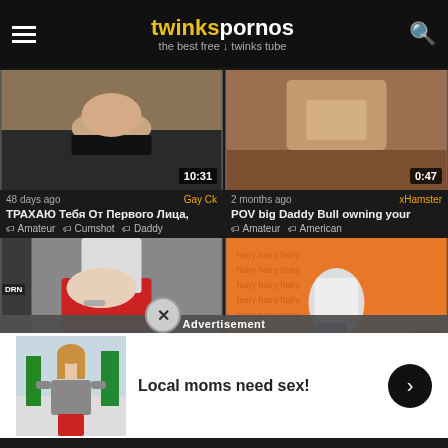twinkspornos — the best free twinks tube
[Figure (screenshot): Video thumbnail 1: torso, duration 10:31]
48 days ago | Gay Ck
ТРАХАЮ Тебя От Первого Лица,
Amateur · Cumshot · Daddy
[Figure (screenshot): Video thumbnail 2: close-up, duration 0:47]
2 months ago | xHamster
POV big Daddy Bull owning your
Amateur · American
[Figure (screenshot): Video thumbnail 3: person pulling shorts, partially obscured by ad]
[Figure (screenshot): Video thumbnail 4: orange print fabric, duration 0:31]
31 days ago | xHamster
73 - PROL
Amateur
Advertisement
Local moms need sex!